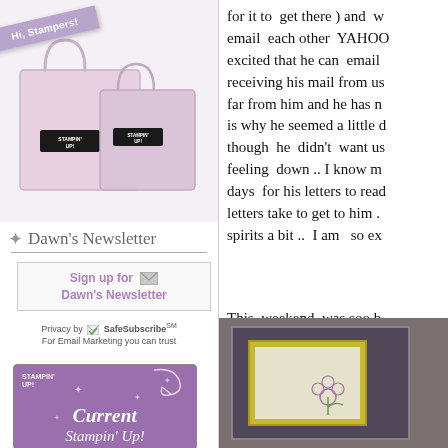[Figure (illustration): Pink Stampin' Up! shopping bags with a purple 'Hi, Stampers!' ribbon across the top left corner]
Dawn's Newsletter
Sign up for Dawn's Newsletter
Privacy by SafeSubscribeSM
For Email Marketing you can trust
[Figure (illustration): Current Stampin' Up! catalog book cover with purple background and sparkle decoration, title 'Current Stampin' Up!']
for it to  get there ) and  w email  each other  YAHOO excited that he can  email receiving his mail from us far from him and he has n is why he seemed a little d though  he  didn't  want us feeling  down .. I know m days  for his letters to read letters take to get to him . spirits a bit ..  I am   so ex
This  weekend  was soo b
[Figure (photo): Photo showing a greeting card with yellow border on dark background]